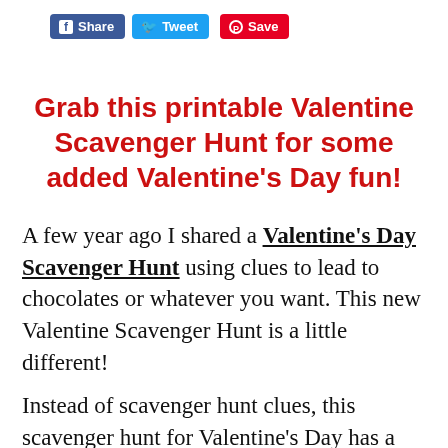[Figure (other): Social sharing buttons: Facebook Share (blue), Twitter Tweet (light blue), Pinterest Save (red)]
Grab this printable Valentine Scavenger Hunt for some added Valentine's Day fun!
A few year ago I shared a Valentine's Day Scavenger Hunt using clues to lead to chocolates or whatever you want. This new Valentine Scavenger Hunt is a little different!
Instead of scavenger hunt clues, this scavenger hunt for Valentine's Day has a